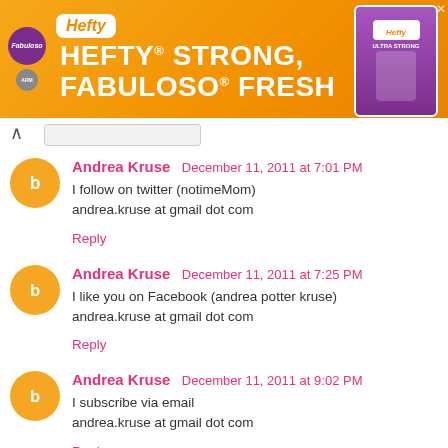[Figure (illustration): Hefty banner advertisement: orange background with 'HEFTY STRONG, FABULOSO FRESH' text, Hefty and Fabuloso logos, and product image on right side]
Andrea Kruse December 11, 2011 at 7:01 PM
I follow on twitter (notimeMom)
andrea.kruse at gmail dot com
Reply
Andrea Kruse December 11, 2011 at 7:25 PM
I like you on Facebook (andrea potter kruse)
andrea.kruse at gmail dot com
Reply
Andrea Kruse December 11, 2011 at 9:02 PM
I subscribe via email
andrea.kruse at gmail dot com
Reply